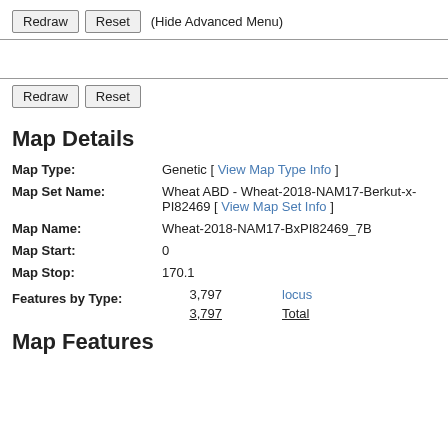Redraw  Reset  (Hide Advanced Menu)
Redraw  Reset
Map Details
| Field | Value |
| --- | --- |
| Map Type: | Genetic [ View Map Type Info ] |
| Map Set Name: | Wheat ABD - Wheat-2018-NAM17-Berkut-x-PI82469 [ View Map Set Info ] |
| Map Name: | Wheat-2018-NAM17-BxPI82469_7B |
| Map Start: | 0 |
| Map Stop: | 170.1 |
| Features by Type: | 3,797  locus
3,797  Total |
Map Features